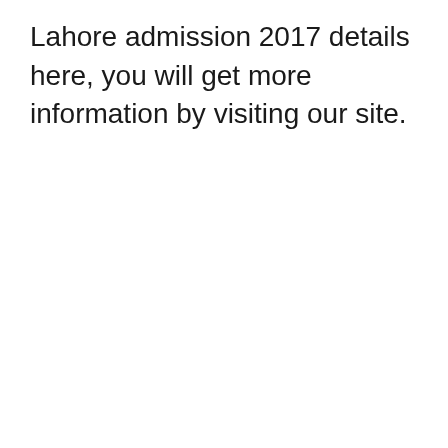Lahore admission 2017 details here, you will get more information by visiting our site.